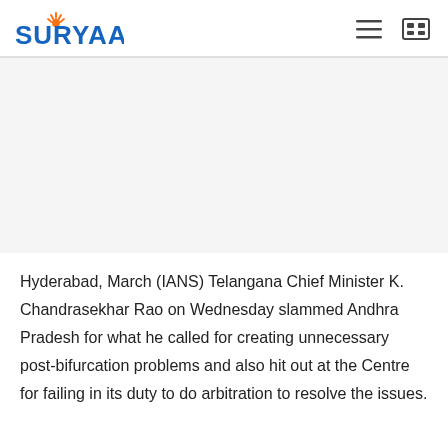SURYAA
[Figure (other): Advertisement / blank placeholder area]
Hyderabad, March (IANS) Telangana Chief Minister K. Chandrasekhar Rao on Wednesday slammed Andhra Pradesh for what he called for creating unnecessary post-bifurcation problems and also hit out at the Centre for failing in its duty to do arbitration to resolve the issues.